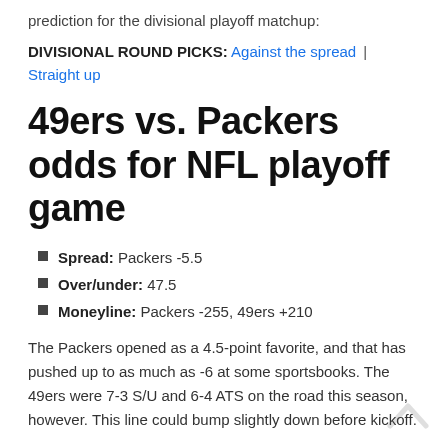prediction for the divisional playoff matchup:
DIVISIONAL ROUND PICKS: Against the spread | Straight up
49ers vs. Packers odds for NFL playoff game
Spread: Packers -5.5
Over/under: 47.5
Moneyline: Packers -255, 49ers +210
The Packers opened as a 4.5-point favorite, and that has pushed up to as much as -6 at some sportsbooks. The 49ers were 7-3 S/U and 6-4 ATS on the road this season, however. This line could bump slightly down before kickoff.